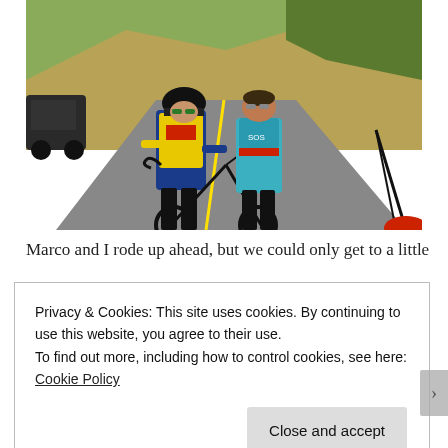[Figure (photo): Two cyclists in cycling gear standing with a road bike on a winding road with dry grassy hills and trees in the background. Left person wears yellow/blue jersey and helmet; right person wears blue jersey and sunglasses.]
Marco and I rode up ahead, but we could only get to a little
Privacy & Cookies: This site uses cookies. By continuing to use this website, you agree to their use.
To find out more, including how to control cookies, see here: Cookie Policy
Close and accept